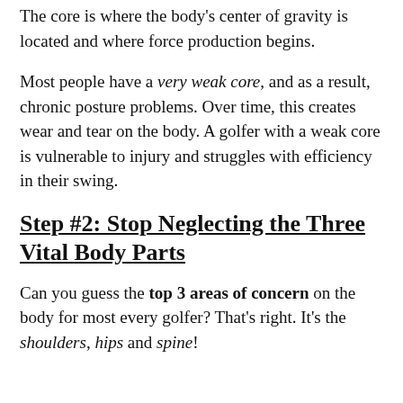The core is where the body's center of gravity is located and where force production begins.
Most people have a very weak core, and as a result, chronic posture problems. Over time, this creates wear and tear on the body. A golfer with a weak core is vulnerable to injury and struggles with efficiency in their swing.
Step #2: Stop Neglecting the Three Vital Body Parts
Can you guess the top 3 areas of concern on the body for most every golfer? That's right. It's the shoulders, hips and spine!